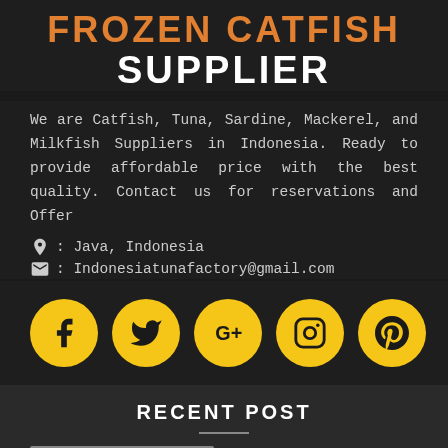FROZEN CATFISH SUPPLIER
We are Catfish, Tuna, Sardine, Mackerel, and Milkfish Suppliers in Indonesia. Ready to provide affordable price with the best quality. Contact us for reservations and Offer
📍 : Java, Indonesia
✉ : Indonesiatunafactory@gmail.com
[Figure (infographic): Five golden circular social media icons in a row: Facebook (f), Twitter (bird), Google+ (G+), Instagram (camera), Pinterest (P)]
RECENT POST
[Figure (logo): DMCA PROTECTED badge with blue DMCA label on left and PROTECTED text on right]
POPULAR